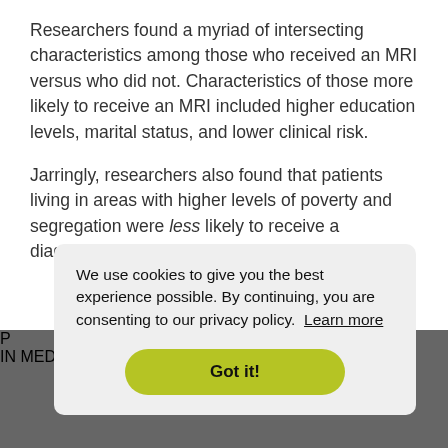Researchers found a myriad of intersecting characteristics among those who received an MRI versus who did not. Characteristics of those more likely to receive an MRI included higher education levels, marital status, and lower clinical risk.
Jarringly, researchers also found that patients living in areas with higher levels of poverty and segregation were less likely to receive a diagnostic MRI.
We use cookies to give you the best experience possible. By continuing, you are consenting to our privacy policy. Learn more
Got it!
[Figure (photo): Partial view of a publication image with a teal circle graphic, a large 'P' letter, and 'IN MEDICINE' text in white on a dark background.]